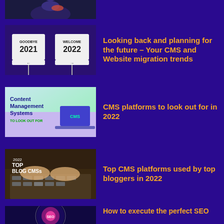[Figure (photo): Partial top image showing a bird (robin) cropped at top of page]
[Figure (photo): Signs showing GOODBYE 2021 and WELCOME 2022 against a brick wall background]
Looking back and planning for the future – Your CMS and Website migration trends
[Figure (illustration): Content Management Systems TO LOOK OUT FOR - illustrated graphic with laptop and person]
CMS platforms to look out for in 2022
[Figure (photo): 2022 TOP BLOG CMSs - photo of hands typing on laptop keyboard]
Top CMS platforms used by top bloggers in 2022
[Figure (photo): SEO glowing button with digital abstract background - partial image]
How to execute the perfect SEO